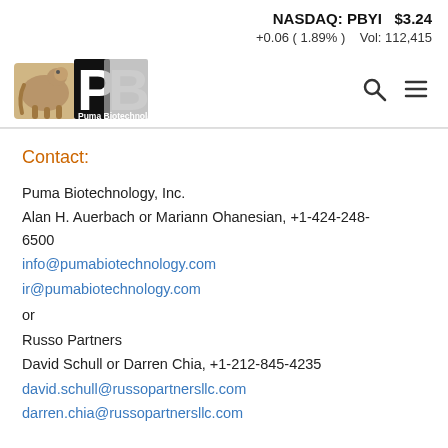NASDAQ: PBYI  $3.24
+0.06 ( 1.89% )  Vol: 112,415
[Figure (logo): Puma Biotechnology logo with puma graphic and PB letters]
Contact:
Puma Biotechnology, Inc.
Alan H. Auerbach or Mariann Ohanesian, +1-424-248-6500
info@pumabiotechnology.com
ir@pumabiotechnology.com
or
Russo Partners
David Schull or Darren Chia, +1-212-845-4235
david.schull@russopartnersllc.com
darren.chia@russopartnersllc.com